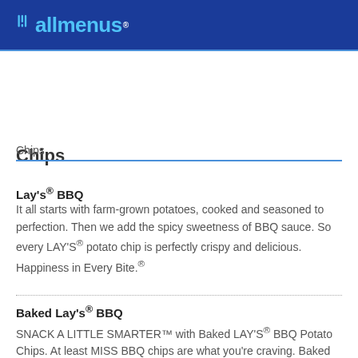allmenus
Chips
Chips
Lay's® BBQ
It all starts with farm-grown potatoes, cooked and seasoned to perfection. Then we add the spicy sweetness of BBQ sauce. So every LAY'S® potato chip is perfectly crispy and delicious. Happiness in Every Bite.®
Baked Lay's® BBQ
SNACK A LITTLE SMARTER™ with Baked LAY'S® BBQ Potato Chips. At least MISS BBQ chips are what you're craving. Baked...